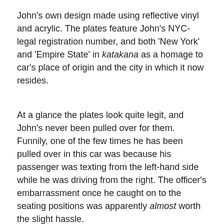John's own design made using reflective vinyl and acrylic. The plates feature John's NYC-legal registration number, and both 'New York' and 'Empire State' in katakana as a homage to car's place of origin and the city in which it now resides.
At a glance the plates look quite legit, and John's never been pulled over for them. Funnily, one of the few times he has been pulled over in this car was because his passenger was texting from the left-hand side while he was driving from the right. The officer's embarrassment once he caught on to the seating positions was apparently almost worth the slight hassle.
There is of course the prerequisite tsurikawa handle hanging from the driver's side of the rear bumper, while on the dash sits a VIP tray which doubles as a form and function modification.